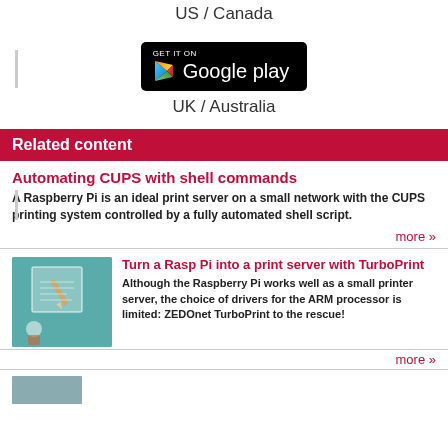US / Canada
[Figure (screenshot): Google Play 'Get it on' button, black rounded rectangle with Play triangle logo and 'Google play' text]
UK / Australia
Related content
Automating CUPS with shell commands
A Raspberry Pi is an ideal print server on a small network with the CUPS printing system controlled by a fully automated shell script.
more »
[Figure (illustration): Teal/green illustration of a child drawing with a pencil on paper]
Turn a Rasp Pi into a print server with TurboPrint
Although the Raspberry Pi works well as a small printer server, the choice of drivers for the ARM processor is limited: ZEDOnet TurboPrint to the rescue!
more »